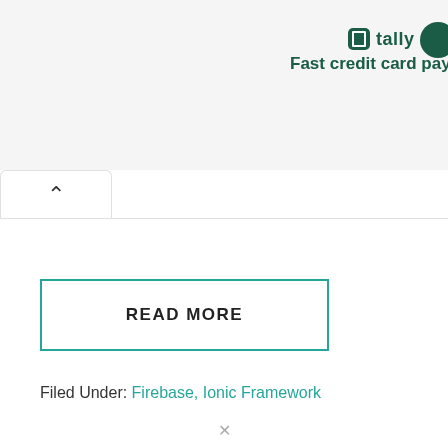[Figure (screenshot): Tally app advertisement banner showing the Tally logo icon, brand name 'tally', and tagline 'Fast credit card payoff' with a dark green circular button on the right.]
^
READ MORE
Filed Under: Firebase, Ionic Framework